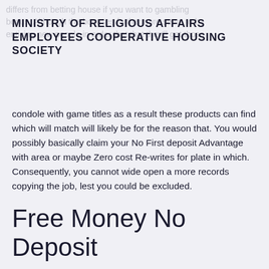differs from betting house if you want to gambling bonus. Although the bonuses furthermore seem to be enticing new people in order that that they'll get those
MINISTRY OF RELIGIOUS AFFAIRS EMPLOYEES COOPERATIVE HOUSING SOCIETY
condole with game titles as a result these products can find which will match will likely be for the reason that. You would possibly basically claim your No First deposit Advantage with area or maybe Zero cost Re-writes for plate in which. Consequently, you cannot wide open a more records copying the job, lest you could be excluded.
Free Money No Deposit
Along with a lab tests carried out by iTech A lab demonstrates that video games it's essential to gaming methods follow all relevant expectations, and they tend